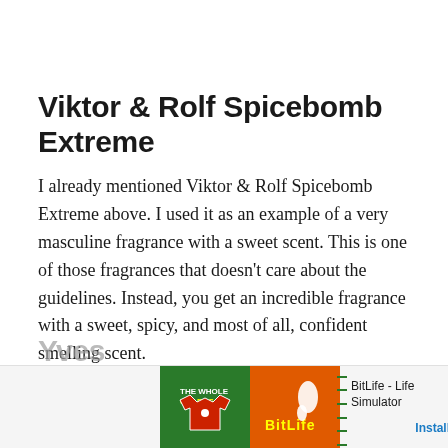Viktor & Rolf Spicebomb Extreme
I already mentioned Viktor & Rolf Spicebomb Extreme above. I used it as an example of a very masculine fragrance with a sweet scent. This is one of those fragrances that doesn't care about the guidelines. Instead, you get an incredible fragrance with a sweet, spicy, and most of all, confident smelling scent.
[Figure (other): Advertisement banner at bottom of page showing BitLife - Life Simulator app ad with green and orange graphics and Install button]